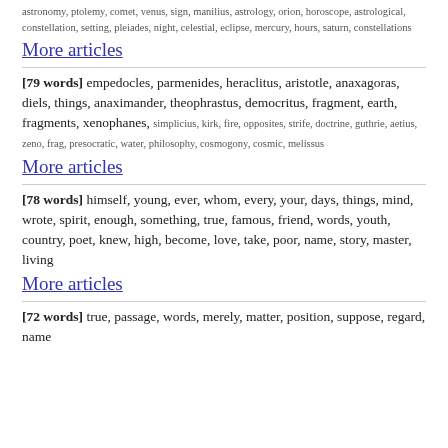astronomy, ptolemy, comet, venus, sign, manilius, astrology, orion, horoscope, astrological, constellation, setting, pleiades, night, celestial, eclipse, mercury, hours, saturn, constellations
More articles
[79 words] empedocles, parmenides, heraclitus, aristotle, anaxagoras, diels, things, anaximander, theophrastus, democritus, fragment, earth, fragments, xenophanes, simplicius, kirk, fire, opposites, strife, doctrine, guthrie, aetius, zeno, frag, presocratic, water, philosophy, cosmogony, cosmic, melissus
More articles
[78 words] himself, young, ever, whom, every, your, days, things, mind, wrote, spirit, enough, something, true, famous, friend, words, youth, country, poet, knew, high, become, love, take, poor, name, story, master, living
More articles
[72 words] true, passage, words, merely, matter, position, suppose, regard, name